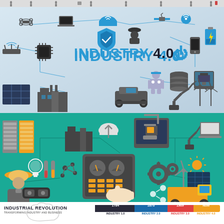[Figure (infographic): Top strip showing small silhouette worker icons in a row on gray background]
[Figure (infographic): Industry 4.0 infographic on light blue-gray gradient background showing interconnected IoT icons: drone, laptop, cloud, satellite, wifi bulb, shield, worker helmet, smartphone, battery, router, circuit chip, robot, database stack, 3D printer, tracked vehicle, robotic arm, wind turbines, solar panels, factory building. Central bold text reads INDUSTRY 4.0 in blue with power symbol.]
[Figure (infographic): Industry 4.0 teal/green infographic showing smart manufacturing ecosystem: server racks (gray and yellow), smart factory with wifi, cloud upload, 3D printer on display, robotic arm with wifi, laptop, lightbulb, test tubes/chemistry, molecule structure, worker with hard hat, VR goggles, tablet/control panel with gauges and keypad being touched by hand, gears, wind turbine, sun, solar panel, yellow delivery truck, share/network icon. All icons connected with lines on teal background.]
[Figure (infographic): Industrial Revolution timeline bar showing four segments: 1784 (dark/black, Industry 1.0), 1870 (blue, Industry 2.0), 1969 (red, Industry 3.0), Now (orange/yellow, Industry 4.0)]
INDUSTRIAL REVOLUTION
TRANSFORMING INDUSTRY AND BUSINESS